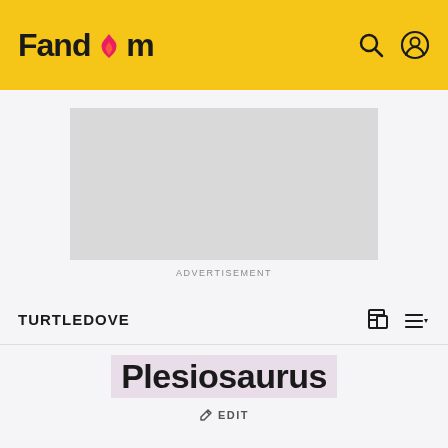Fandom
[Figure (other): Gray advertisement placeholder rectangle]
ADVERTISEMENT
TURTLEDOVE
Plesiosaurus
EDIT